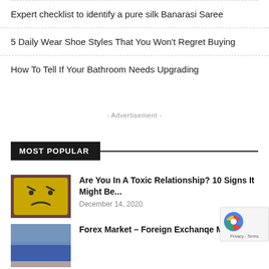Expert checklist to identify a pure silk Banarasi Saree
5 Daily Wear Shoe Styles That You Won't Regret Buying
How To Tell If Your Bathroom Needs Upgrading
- Advertisement -
MOST POPULAR
Are You In A Toxic Relationship? 10 Signs It Might Be...
December 14, 2020
Forex Market – Foreign Exchange Market